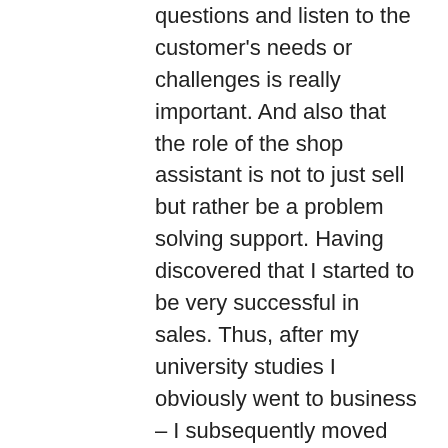questions and listen to the customer's needs or challenges is really important. And also that the role of the shop assistant is not to just sell but rather be a problem solving support. Having discovered that I started to be very successful in sales. Thus, after my university studies I obviously went to business – I subsequently moved from basic roles in sales to the position of Commercial Director and General Manager in international companies. Nowadays, after over 20 years spent in corporate structures, I work as a business trainer, MBA lecturer, executive coach & business mentor. And I am using my sales, restructuring & management experience to develop managers to real leaders and to make